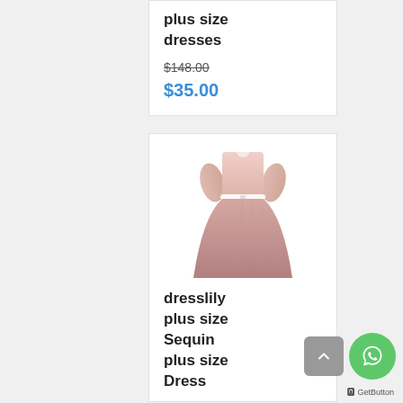plus size dresses
$148.00
$35.00
[Figure (photo): Pink pleated plus size dress with V-neckline, 3/4 sleeves, and white belt detail]
dresslily plus size Sequin plus size Dress